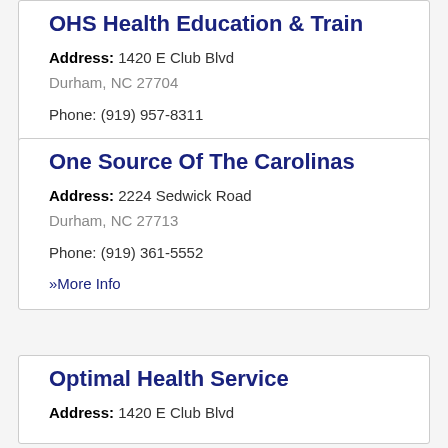OHS Health Education & Train
Address: 1420 E Club Blvd
Durham, NC 27704
Phone: (919) 957-8311
» More Info
One Source Of The Carolinas
Address: 2224 Sedwick Road
Durham, NC 27713
Phone: (919) 361-5552
» More Info
Optimal Health Service
Address: 1420 E Club Blvd